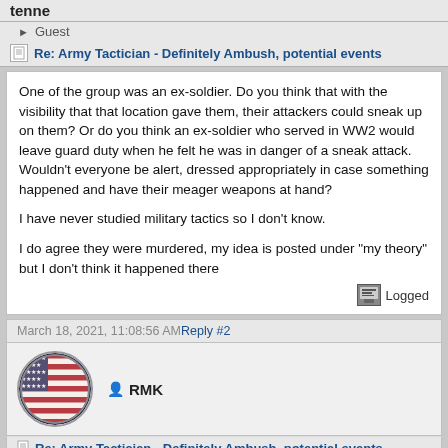tenne
Guest
Re: Army Tactician - Definitely Ambush, potential events
One of the group was an ex-soldier. Do you think that with the visibility that that location gave them, their attackers could sneak up on them? Or do you think an ex-soldier who served in WW2 would leave guard duty when he felt he was in danger of a sneak attack. Wouldn't everyone be alert, dressed appropriately in case something happened and have their meager weapons at hand?

I have never studied military tactics so I don't know.

I do agree they were murdered, my idea is posted under "my theory" but I don't think it happened there
Logged
March 18, 2021, 11:08:56 AMReply #2
RMK
[Figure (photo): Circular avatar showing an American flag]
Re: Army Tactician - Definitely Ambush, potential events